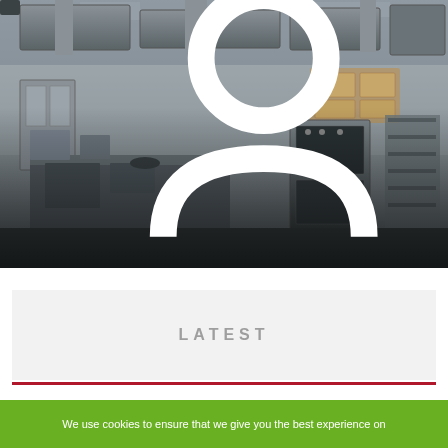[Figure (photo): Interior photo of a commercial restaurant kitchen with stainless steel equipment, ventilation hoods, ovens, and preparation surfaces. Grayscale/desaturated tones.]
4 SIGNS YOUR RESTAURANT NEEDS HOOD CLEANING SERVICES
Wilfredo E. Keeling   January 14, 2021
LATEST
We use cookies to ensure that we give you the best experience on